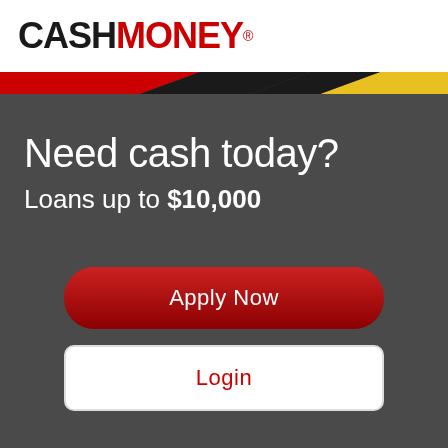CASHMONEY®
[Figure (other): Decorative diagonal color bar with red, black, and yellow/gold sections]
Need cash today?
Loans up to $10,000
Apply Now
Login